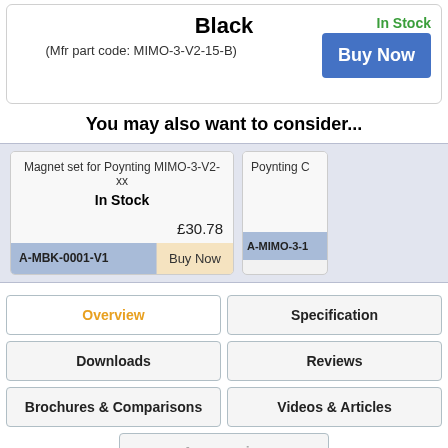Black
(Mfr part code: MIMO-3-V2-15-B)
In Stock
Buy Now
You may also want to consider...
Magnet set for Poynting MIMO-3-V2-xx
In Stock
£30.78
A-MBK-0001-V1
Buy Now
Poynting C
A-MIMO-3-1
Overview
Specification
Downloads
Reviews
Brochures & Comparisons
Videos & Articles
Accessories